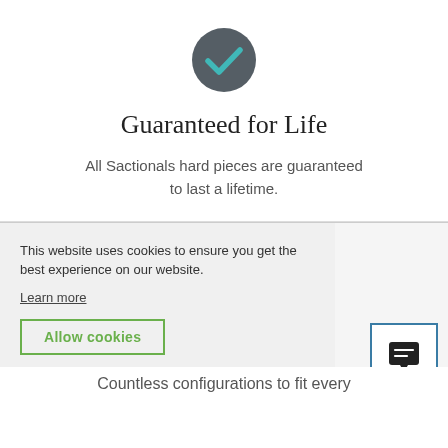[Figure (illustration): Dark grey circle with a teal/turquoise checkmark icon in the center]
Guaranteed for Life
All Sactionals hard pieces are guaranteed to last a lifetime.
This website uses cookies to ensure you get the best experience on our website.
Learn more
Allow cookies
Countless configurations to fit every